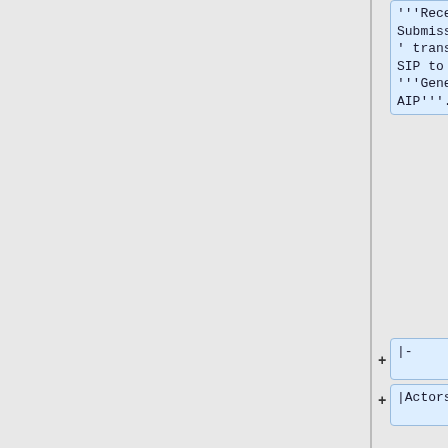'''Receive Submission''' transmits SIP to '''Generate AIP'''.
|-
|Actors
|
*'''Generate AIP'''
*'''Producer'''
*'''Quality Assurance'''
*'''Receive Submission'''